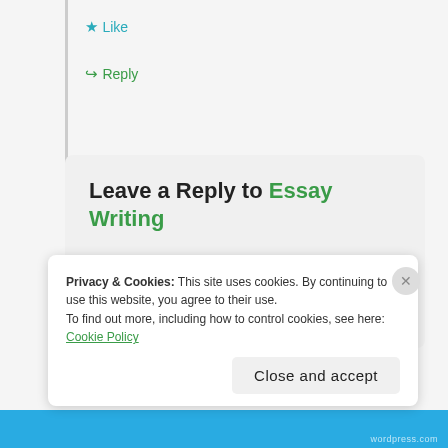★ Like
↳ Reply
Leave a Reply to Essay Writing
Your email address will not be published. Required fields are marked *
Comment *
Privacy & Cookies: This site uses cookies. By continuing to use this website, you agree to their use. To find out more, including how to control cookies, see here: Cookie Policy
Close and accept